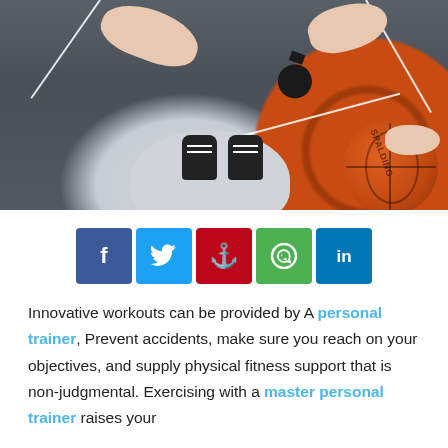[Figure (photo): Overhead view of a person lying on a basketball court holding a Spalding basketball, wearing a watch, white shorts, and black sneakers with white laces. White court lines visible on dark asphalt.]
[Figure (infographic): Row of five social media share buttons: Facebook (dark blue, f), Twitter (light blue, bird), Pinterest (red, p), WhatsApp (green, phone), LinkedIn (navy, in)]
Innovative workouts can be provided by A personal trainer, Prevent accidents, make sure you reach on your objectives, and supply physical fitness support that is non-judgmental. Exercising with a master personal trainer raises your